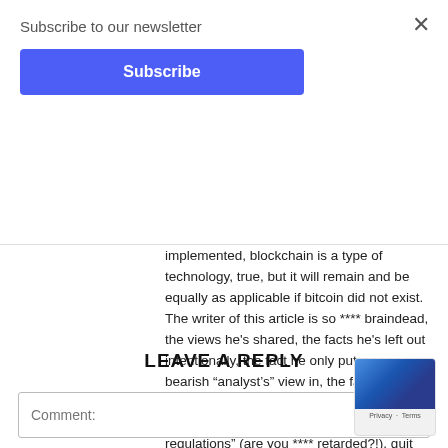Subscribe to our newsletter
Subscribe
implemented, blockchain is a type of technology, true, but it will remain and be equally as applicable if bitcoin did not exist. The writer of this article is so **** braindead, the views he's shared, the facts he's left out intentionally, the fact he only put one bearish “analyst’s” view in, the fact he reckons the reason the analyst predicted $100 per BTC is due to “government regulations” (are you **** retarded?!), quit your job.
Reply
LEAVE A REPLY
Comment: